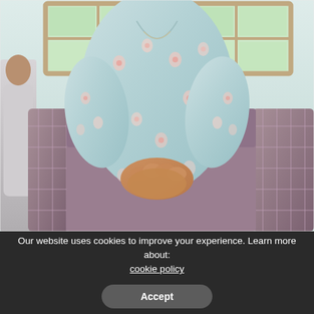[Figure (photo): A woman wearing a light blue floral kurta/salwar suit sitting on a mauve/brown checked sofa with her hands clasped in her lap. Behind her are two large windows with white frames showing greenery outside. A second person is partially visible on the left edge of the frame.]
Our website uses cookies to improve your experience. Learn more about: cookie policy
Accept